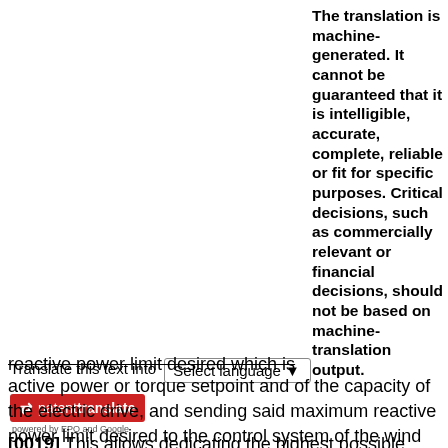The translation is machine-generated. It cannot be guaranteed that it is intelligible, accurate, complete, reliable or fit for specific purposes. Critical decisions, such as commercially relevant or financial decisions, should not be based on machine-translation output.
Translate this text into
[Figure (screenshot): Select language dropdown and patenttranslate logo powered by EPO and Google]
reactive power limit desired which is a function of the initial active power or torque setpoint and of the capacity of the electric drive, and sending said maximum reactive power limit desired to the control system of the wind farm.
[0019] This allows dedicating the highest possible fraction of